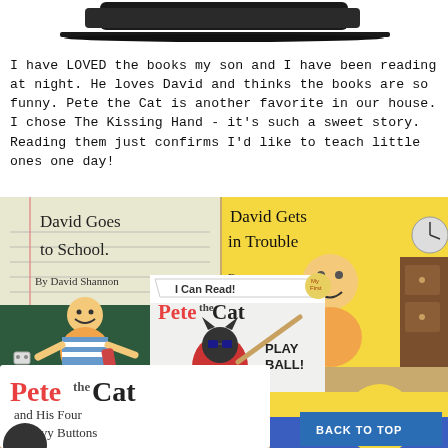[Figure (illustration): Partial top portion of a decorative banner or book cover image, showing a dark curved shape against white background]
I have LOVED the books my son and I have been reading at night. He loves David and thinks the books are so funny. Pete the Cat is another favorite in our house. I chose The Kissing Hand - it's such a sweet story. Reading them just confirms I'd like to teach little ones one day!
[Figure (photo): Photo showing multiple children's book covers arranged together: 'David Goes to School by David Shannon', 'David Gets in Trouble by David Shannon', 'Pete the Cat Play Ball! (I Can Read!)', and 'Pete the Cat and His Four Groovy Buttons'. A blue 'BACK TO TOP' button overlays the bottom right corner.]